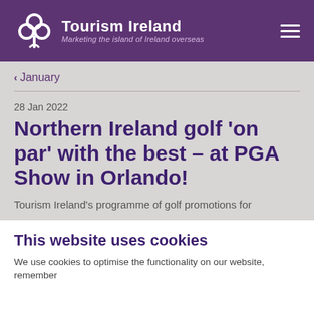Tourism Ireland — Marketing the island of Ireland overseas
< January
28 Jan 2022
Northern Ireland golf 'on par' with the best – at PGA Show in Orlando!
Tourism Ireland's programme of golf promotions for
This website uses cookies
We use cookies to optimise the functionality on our website, remember